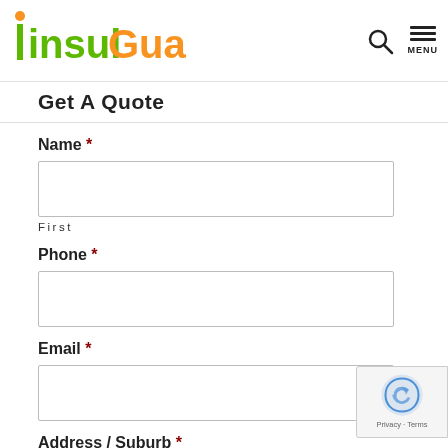[Figure (logo): InsulGuard logo with green 'insul' and orange 'Guard' text, small orange dot above the 'i']
Get A Quote
Name *
First
Phone *
Email *
Address / Suburb *